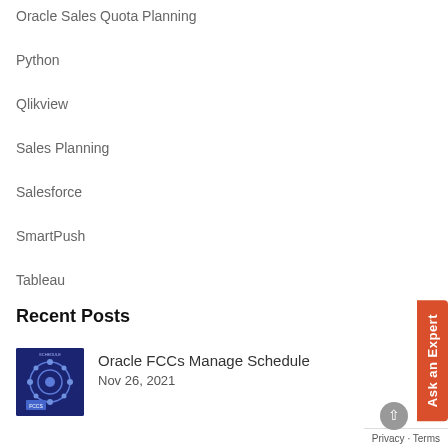Oracle Sales Quota Planning
Python
Qlikview
Sales Planning
Salesforce
SmartPush
Tableau
Recent Posts
[Figure (photo): Thumbnail image for Oracle FCCs Manage Schedule post, dark blue background with circular diagram]
Oracle FCCs Manage Schedule
Nov 26, 2021